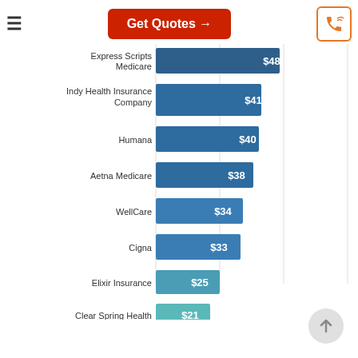[Figure (bar-chart): Medicare Part D Costs by Insurance Company]